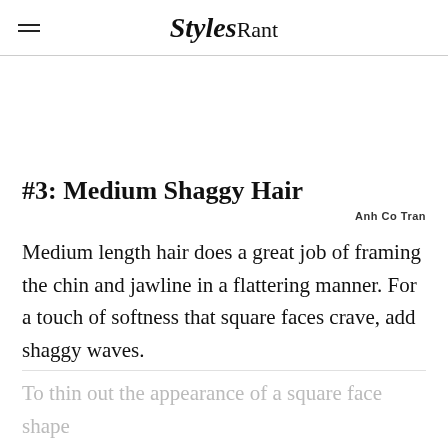StylesRant
#3: Medium Shaggy Hair
Anh Co Tran
Medium length hair does a great job of framing the chin and jawline in a flattering manner. For a touch of softness that square faces crave, add shaggy waves.
To thin out the appearance of a square face shape